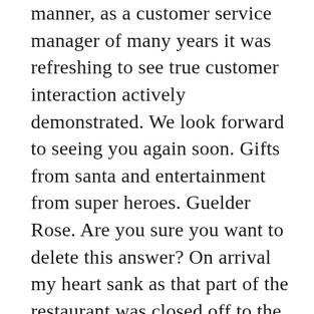manner, as a customer service manager of many years it was refreshing to see true customer interaction actively demonstrated. We look forward to seeing you again soon. Gifts from santa and entertainment from super heroes. Guelder Rose. Are you sure you want to delete this answer? On arrival my heart sank as that part of the restaurant was closed off to the public due to Covid, the girl informed me and I was about to walk when the young man Darren intervened and reassuringly took control of the issue and guided us to the exact table our son loves. Thank you for leaving such a lovely review, I have passed your comments onto Abi and thanked her for doing so well in